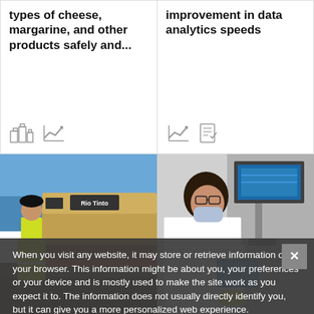types of cheese, margarine, and other products safely and...
improvement in data analytics speeds
[Figure (photo): Worker in hi-vis vest standing in front of a Rio Tinto locomotive/train]
[Figure (photo): Lab technician in white coat and mask working with laboratory equipment]
When you visit any website, it may store or retrieve information on your browser. This information might be about you, your preferences or your device and is mostly used to make the site work as you expect it to. The information does not usually directly identify you, but it can give you a more personalized web experience.
Cookie Notice
OK